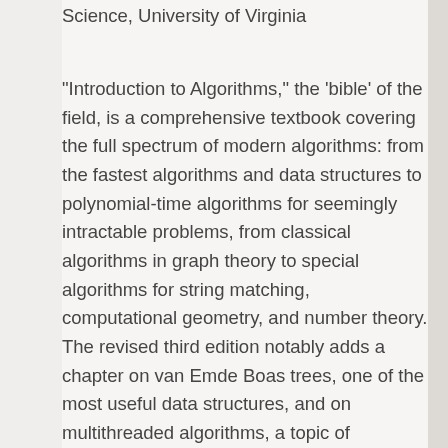Science, University of Virginia
“Introduction to Algorithms,” the ‘bible’ of the field, is a comprehensive textbook covering the full spectrum of modern algorithms: from the fastest algorithms and data structures to polynomial-time algorithms for seemingly intractable problems, from classical algorithms in graph theory to special algorithms for string matching, computational geometry, and number theory. The revised third edition notably adds a chapter on van Emde Boas trees, one of the most useful data structures, and on multithreaded algorithms, a topic of increasing importance.”–Daniel Spielman,